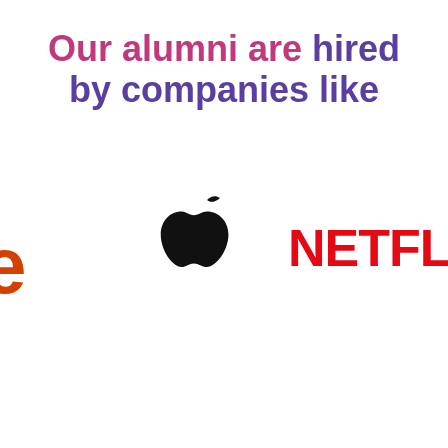Our alumni are hired by companies like
[Figure (logo): Partial letter 'e' visible at left edge, likely Google or similar company logo in orange/red]
[Figure (logo): Apple logo in black]
[Figure (logo): NETFLIX logo in red bold text]